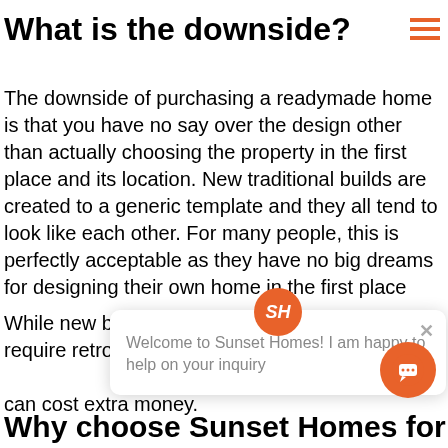What is the downside?
The downside of purchasing a readymade home is that you have no say over the design other than actually choosing the property in the first place and its location. New traditional builds are created to a generic template and they all tend to look like each other. For many people, this is perfectly acceptable as they have no big dreams for designing their own home in the first place
While new builds are energy efficient, they may require retroactive work at that can cost extra money.
[Figure (screenshot): Chat widget popup from Sunset Homes with logo, close button, and message: Welcome to Sunset Homes! I am happy to help on your inquiry. Orange chat bubble button in corner.]
Why choose Sunset Homes for you